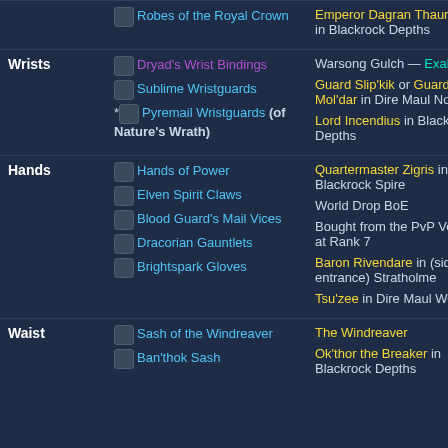| Slot | Item | Source |
| --- | --- | --- |
|  | Robes of the Royal Crown | Emperor Dagran Thaurissan in Blackrock Depths |
| Wrists | Dryad's Wrist Bindings | Sublime Wristguards | *Pyremail Wristguards (of Nature's Wrath) | Warsong Gulch — Exalted | Guard Slip'kik or Guard Mol'dar in Dire Maul North | Lord Incendius in Blackrock Depths |
| Hands | Hands of Power | Elven Spirit Claws | Blood Guard's Mail Vices | Dracorian Gauntlets | Brightspark Gloves | Quartermaster Zigris in Lower Blackrock Spire | World Drop BoE | Bought from the PvP Vendor at Rank 7 | Baron Rivendare in (side-entrance) Stratholme | Tsu'zee in Dire Maul West |
| Waist | Sash of the Windreaver | Ban'thok Sash | The Windreaver | Ok'thor the Breaker in Blackrock Depths |